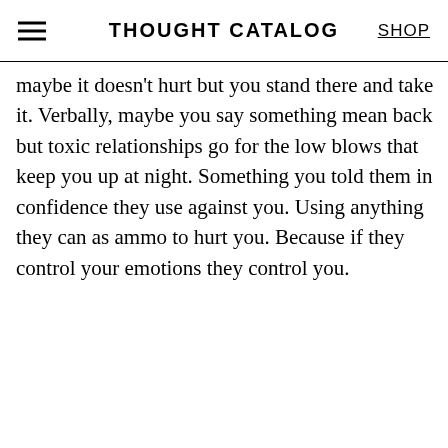THOUGHT CATALOG
maybe it doesn't hurt but you stand there and take it. Verbally, maybe you say something mean back but toxic relationships go for the low blows that keep you up at night. Something you told them in confidence they use against you. Using anything they can as ammo to hurt you. Because if they control your emotions they control you.